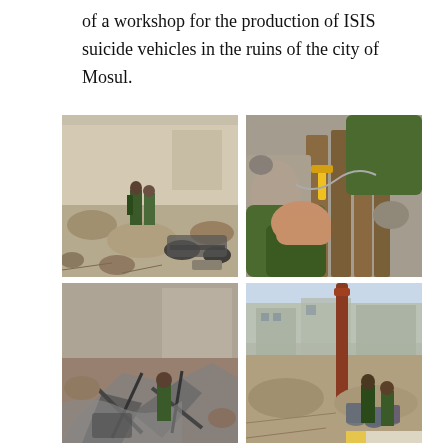of a workshop for the production of ISIS suicide vehicles in the ruins of the city of Mosul.
[Figure (photo): Four photographs arranged in a 2x2 grid showing destruction in Mosul: top-left shows soldiers standing among rubble near an overturned vehicle chassis; top-right shows close-up of hands working with tools/wires among concrete rubble; bottom-left shows debris and wreckage of destroyed vehicles/metal; bottom-right shows soldiers working among rubble with a large piece of machinery or structure.]